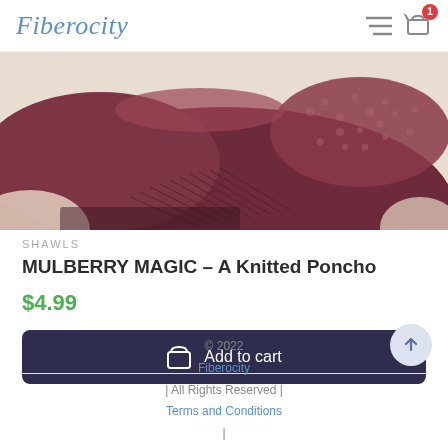Fiberocity
[Figure (photo): Close-up photo of a mulberry/dark red knitted poncho fabric, showing texture with ribbing and lace-like pattern on a light background.]
SHAWLS
MULBERRY MAGIC – A Knitted Poncho
$4.99
Add to cart
© 2022 Fiberocity | All Rights Reserved | Terms and Conditions | Privacy Policy